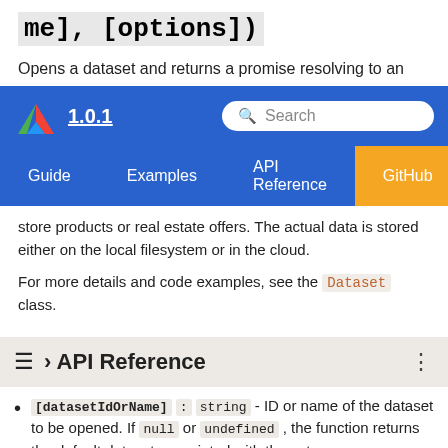me], [options])
Opens a dataset and returns a promise resolving to an
1.0.1 | Guide | Examples | API Reference | GitHub
store products or real estate offers. The actual data is stored either on the local filesystem or in the cloud.
For more details and code examples, see the Dataset class.
› API Reference
[datasetIdOrName] : string - ID or name of the dataset to be opened. If null or undefined , the function returns the default dataset associated with the actor run.
[options] : Object